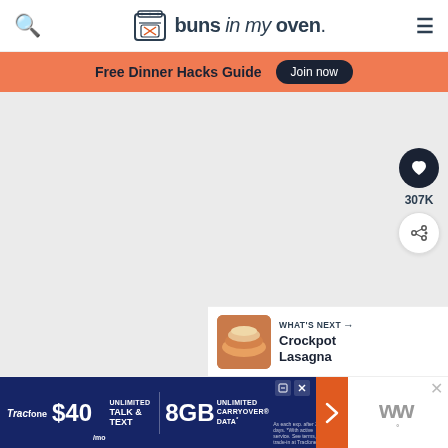buns in my oven.
Free Dinner Hacks Guide  Join now
[Figure (photo): Large food photo content area (light gray placeholder)]
307K
WHAT'S NEXT → Crockpot Lasagna
[Figure (photo): Advertisement: Tracfone $40/mo Unlimited Talk & Text, 8GB Unlimited Carryover Data]